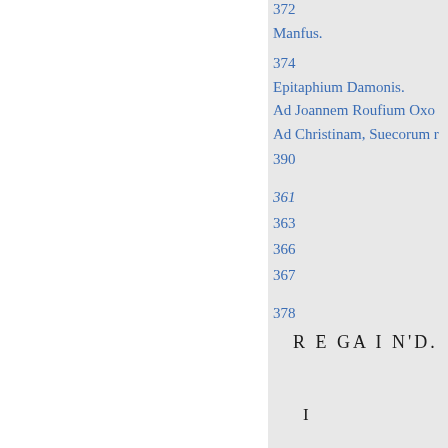372
Manfus.
374
Epitaphium Damonis.
Ad Joannem Roufium Oxo
Ad Christinam, Suecorum r
390
361
363
366
367
378
R E GA I N'D.
I